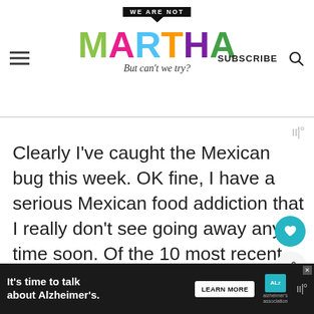WE ARE NOT MARTHA — But can't we try? | SUBSCRIBE
[Figure (other): Waveform / audio icon in gray]
Clearly I've caught the Mexican bug this week. OK fine, I have a serious Mexican food addiction that I really don't see going away any time soon. Of the 10 most recent recipe ideas I've jotted down on my must-make list, 8 of have avocados in them. I've always like
[Figure (other): What's Next widget with Grilled Pineapple thumbnail]
[Figure (other): Advertisement banner: It's time to talk about Alzheimer's. LEARN MORE. Alzheimer's Association logo.]